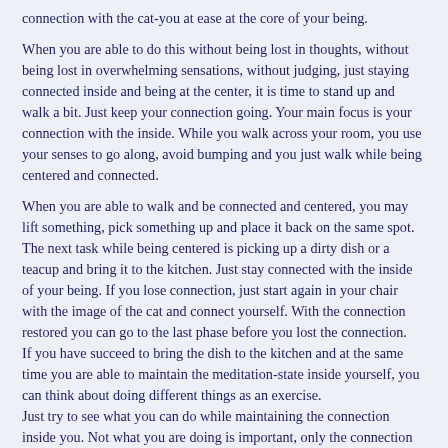connection with the cat-you at ease at the core of your being.
When you are able to do this without being lost in thoughts, without being lost in overwhelming sensations, without judging, just staying connected inside and being at the center, it is time to stand up and walk a bit. Just keep your connection going. Your main focus is your connection with the inside. While you walk across your room, you use your senses to go along, avoid bumping and you just walk while being centered and connected.
When you are able to walk and be connected and centered, you may lift something, pick something up and place it back on the same spot. The next task while being centered is picking up a dirty dish or a teacup and bring it to the kitchen. Just stay connected with the inside of your being. If you lose connection, just start again in your chair with the image of the cat and connect yourself. With the connection restored you can go to the last phase before you lost the connection.
If you have succeed to bring the dish to the kitchen and at the same time you are able to maintain the meditation-state inside yourself, you can think about doing different things as an exercise.
Just try to see what you can do while maintaining the connection inside you. Not what you are doing is important, only the connection with the inside of you is important.